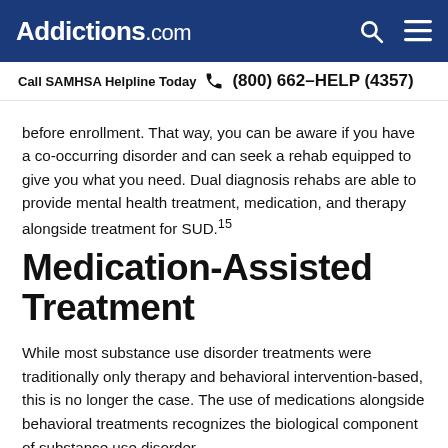Addictions.com
Call SAMHSA Helpline Today  (800) 662-HELP (4357)
before enrollment. That way, you can be aware if you have a co-occurring disorder and can seek a rehab equipped to give you what you need. Dual diagnosis rehabs are able to provide mental health treatment, medication, and therapy alongside treatment for SUD.15
Medication-Assisted Treatment
While most substance use disorder treatments were traditionally only therapy and behavioral intervention-based, this is no longer the case. The use of medications alongside behavioral treatments recognizes the biological component of substance use disorder.